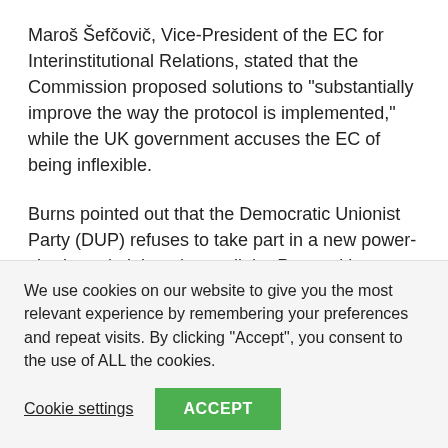Maroš Šefčovič, Vice-President of the EC for Interinstitutional Relations, stated that the Commission proposed solutions to “substantially improve the way the protocol is implemented,” while the UK government accuses the EC of being inflexible.
Burns pointed out that the Democratic Unionist Party (DUP) refuses to take part in a new power-sharing administration until the Protocol is changed, stressing that this shows the Protocol, rather than UK’s proposed regulations, is the problem.
We use cookies on our website to give you the most relevant experience by remembering your preferences and repeat visits. By clicking “Accept”, you consent to the use of ALL the cookies.
Cookie settings
ACCEPT